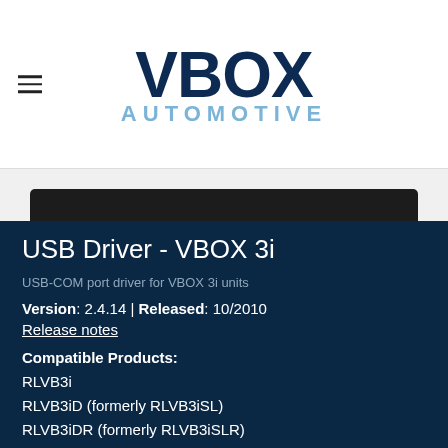VBOX AUTOMOTIVE
[Figure (photo): VBOX 3i device image, dark hardware unit shown against dark blue background]
USB Driver - VBOX 3i
USB-COM port driver for VBOX 3i units
Version: 2.4.14 | Released: 10/2010
Release notes
Compatible Products:
RLVB3i
RLVB3iD (formerly RLVB3iSL)
RLVB3iDR (formerly RLVB3iSLR)
USB-COM port driver required for live serial